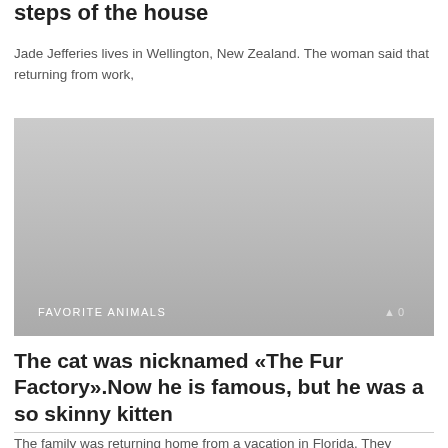steps of the house
Jade Jefferies lives in Wellington, New Zealand. The woman said that returning from work,
[Figure (photo): Gray placeholder image with label 'FAVORITE ANIMALS' and count '0' at the bottom]
The cat was nicknamed «The Fur Factory».Now he is famous, but he was a so skinny kitten
The family was returning home from a vacation in Florida. They spotted a small
[Figure (photo): Gray placeholder image partially visible at the bottom of the page]